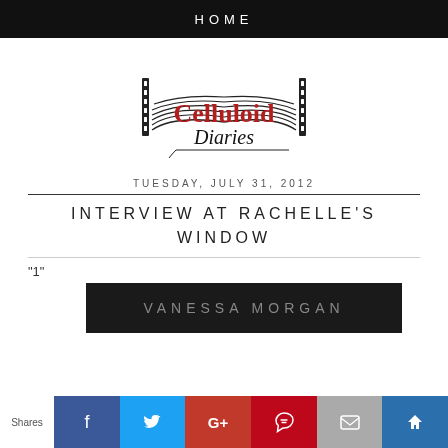HOME
[Figure (logo): Celluloid Diaries logo — an open book with film strips on the spine, with 'Celluloid' in red serif type and 'Diaries' in black script below]
TUESDAY, JULY 31, 2012
INTERVIEW AT RACHELLE'S WINDOW
"1"
[Figure (screenshot): Dark banner image showing text 'VANESSA MORGAN' in grey letters on black background]
Shares